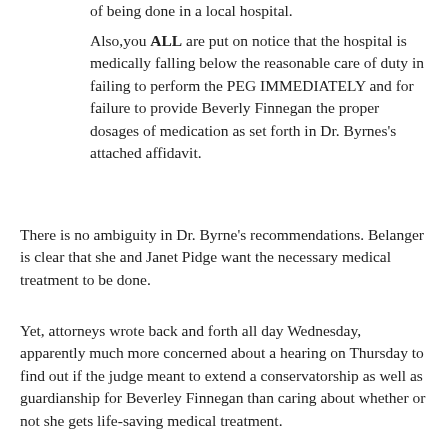of being done in a local hospital.
Also,you ALL are put on notice that the hospital is medically falling below the reasonable care of duty in failing to perform the PEG IMMEDIATELY and for failure to provide Beverly Finnegan the proper dosages of medication as set forth in Dr. Byrnes's attached affidavit.
There is no ambiguity in Dr. Byrne's recommendations. Belanger is clear that she and Janet Pidge want the necessary medical treatment to be done.
Yet, attorneys wrote back and forth all day Wednesday, apparently much more concerned about a hearing on Thursday to find out if the judge meant to extend a conservatorship as well as guardianship for Beverley Finnegan than caring about whether or not she gets life-saving medical treatment.
In her ruling on Tuesday, the judge did not specify that the conservatorship was to be extended, so there is a hearing to clarify whether that was an oversight or not.